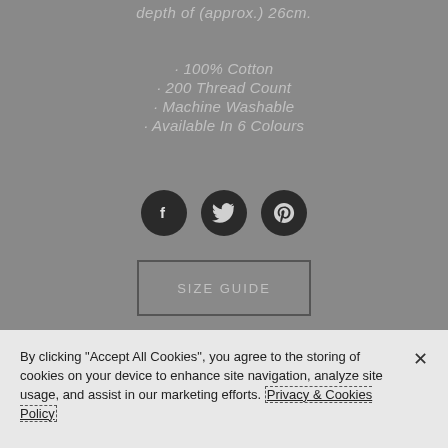depth of (approx.) 26cm.
· 100% Cotton
· 200 Thread Count
· Machine Washable
· Available In 6 Colours
[Figure (illustration): Three circular social media icons: Facebook (f), Twitter (bird), Pinterest (P)]
SIZE GUIDE
By clicking "Accept All Cookies", you agree to the storing of cookies on your device to enhance site navigation, analyze site usage, and assist in our marketing efforts. Privacy & Cookies Policy